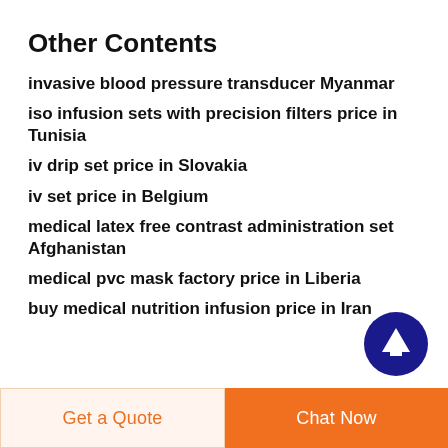Other Contents
invasive blood pressure transducer Myanmar
iso infusion sets with precision filters price in Tunisia
iv drip set price in Slovakia
iv set price in Belgium
medical latex free contrast administration set Afghanistan
medical pvc mask factory price in Liberia
buy medical nutrition infusion price in Iran